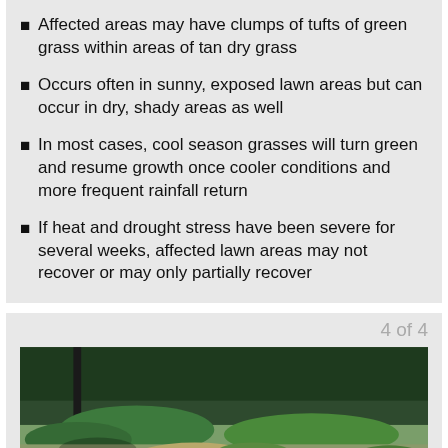Affected areas may have clumps of tufts of green grass within areas of tan dry grass
Occurs often in sunny, exposed lawn areas but can occur in dry, shady areas as well
In most cases, cool season grasses will turn green and resume growth once cooler conditions and more frequent rainfall return
If heat and drought stress have been severe for several weeks, affected lawn areas may not recover or may only partially recover
4 of 4
[Figure (photo): Photograph of a lawn area showing patches of dry tan/brown grass mixed with green grass, with a tree visible in the background.]